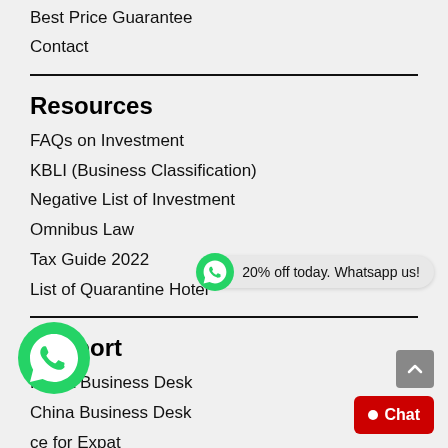Best Price Guarantee
Contact
Resources
FAQs on Investment
KBLI (Business Classification)
Negative List of Investment
Omnibus Law
Tax Guide 2022
List of Quarantine Hotel
Support
Korea Business Desk
China Business Desk
ce for Expat
ayoneer Account
Community & Webinar Events
20% off today. Whatsapp us!